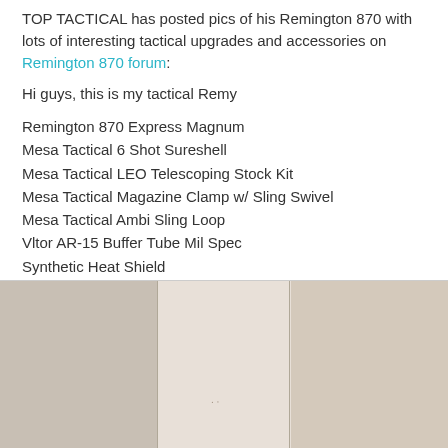TOP TACTICAL has posted pics of his Remington 870 with lots of interesting tactical upgrades and accessories on Remington 870 forum:
Hi guys, this is my tactical Remy
Remington 870 Express Magnum
Mesa Tactical 6 Shot Sureshell
Mesa Tactical LEO Telescoping Stock Kit
Mesa Tactical Magazine Clamp w/ Sling Swivel
Mesa Tactical Ambi Sling Loop
Vltor AR-15 Buffer Tube Mil Spec
Synthetic Heat Shield
SureFire 618FA
SureFire FM67 Beamcover
CAA Cheek Piece
LimbSaver AR-15 Recoil Pad
Truglo Tritium Fiber Optic (TFO) sight
[Figure (photo): Photo of a surface or background, appears to be a light-colored surface divided into three panels by vertical seams.]